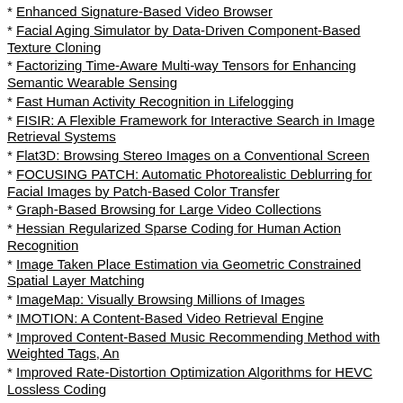Enhanced Signature-Based Video Browser
Facial Aging Simulator by Data-Driven Component-Based Texture Cloning
Factorizing Time-Aware Multi-way Tensors for Enhancing Semantic Wearable Sensing
Fast Human Activity Recognition in Lifelogging
FISIR: A Flexible Framework for Interactive Search in Image Retrieval Systems
Flat3D: Browsing Stereo Images on a Conventional Screen
FOCUSING PATCH: Automatic Photorealistic Deblurring for Facial Images by Patch-Based Color Transfer
Graph-Based Browsing for Large Video Collections
Hessian Regularized Sparse Coding for Human Action Recognition
Image Taken Place Estimation via Geometric Constrained Spatial Layer Matching
ImageMap: Visually Browsing Millions of Images
IMOTION: A Content-Based Video Retrieval Engine
Improved Content-Based Music Recommending Method with Weighted Tags, An
Improved Rate-Distortion Optimization Algorithms for HEVC Lossless Coding
Improving Interactive Known-Item Search in Video with the Keyframe Navigation Tree
Interactive Known-Item Search Using Semantic Textual and